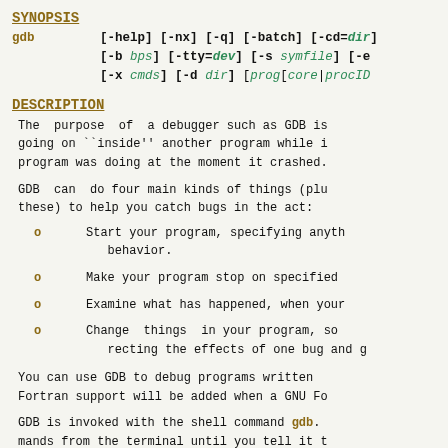SYNOPSIS
gdb [-help] [-nx] [-q] [-batch] [-cd=dir] [-b bps] [-tty=dev] [-s symfile] [-e...] [-x cmds] [-d dir] [prog[core|procID]]
DESCRIPTION
The purpose of a debugger such as GDB is going on ``inside'' another program while i program was doing at the moment it crashed.
GDB can do four main kinds of things (plu these) to help you catch bugs in the act:
Start your program, specifying anyth behavior.
Make your program stop on specified
Examine what has happened, when your
Change things in your program, so recting the effects of one bug and g
You can use GDB to debug programs written Fortran support will be added when a GNU Fo
GDB is invoked with the shell command gdb. mands from the terminal until you tell it t